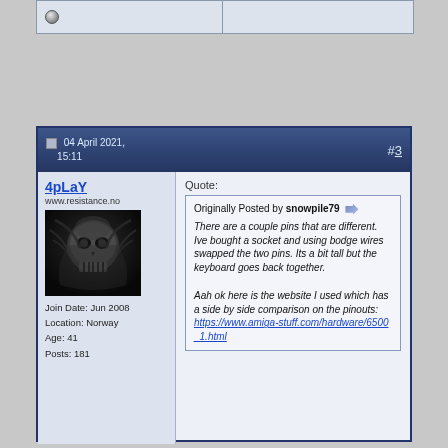[Figure (screenshot): Forum post top bar with offline icon]
04 April 2021, 15:11
#3
4pLaY
www.resistance.no
[Figure (photo): Dark skull avatar image]
Join Date: Jun 2008
Location: Norway
Age: 41
Posts: 181
Quote:
Originally Posted by snowpile79
There are a couple pins that are different. Ive bought a socket and using bodge wires swapped the two pins. Its a bit tall but the keyboard goes back together.

Aah ok here is the website I used which has a side by side comparison on the pinouts:
https://www.amiga-stuff.com/hardware/6500_1.html